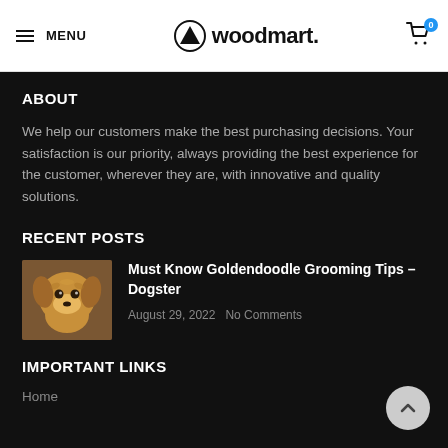MENU | woodmart. | Cart 0
ABOUT
We help our customers make the best purchasing decisions. Your satisfaction is our priority, always providing the best experience for the customer, wherever they are, with innovative and quality solutions.
RECENT POSTS
[Figure (photo): Photo of a golden doodle dog face, close-up, warm golden/brown fur]
Must Know Goldendoodle Grooming Tips – Dogster
August 29, 2022   No Comments
IMPORTANT LINKS
Home